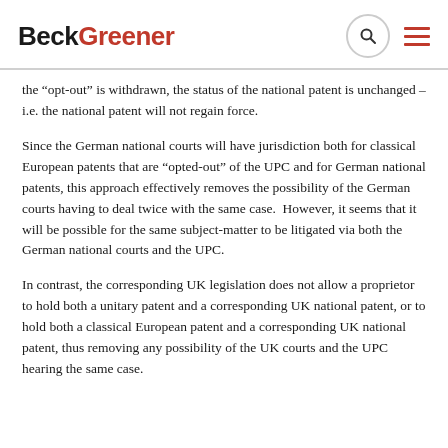BeckGreener
the “opt-out” is withdrawn, the status of the national patent is unchanged – i.e. the national patent will not regain force.
Since the German national courts will have jurisdiction both for classical European patents that are “opted-out” of the UPC and for German national patents, this approach effectively removes the possibility of the German courts having to deal twice with the same case.  However, it seems that it will be possible for the same subject-matter to be litigated via both the German national courts and the UPC.
In contrast, the corresponding UK legislation does not allow a proprietor to hold both a unitary patent and a corresponding UK national patent, or to hold both a classical European patent and a corresponding UK national patent, thus removing any possibility of the UK courts and the UPC hearing the same case.